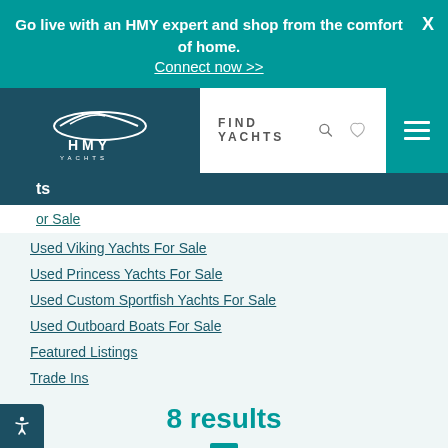Go live with an HMY expert and shop from the comfort of home. Connect now >>
[Figure (logo): HMY Yachts logo in white on dark teal background]
FIND YACHTS
ts
or Sale
Used Viking Yachts For Sale
Used Princess Yachts For Sale
Used Custom Sportfish Yachts For Sale
Used Outboard Boats For Sale
Featured Listings
Trade Ins
8 results
« ‹ 1 › »